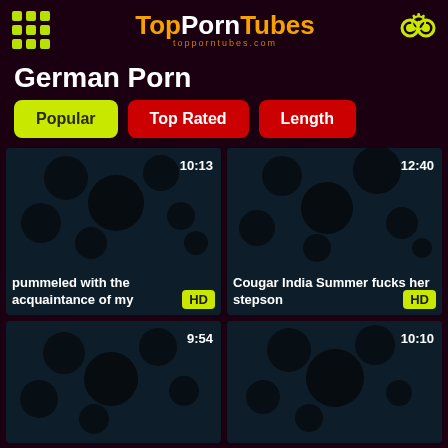TopPornTubes topporntubes.com
German Porn
Popular
Top Rated
Length
[Figure (screenshot): Video thumbnail with dark background and decorative circles, duration 10:13, HD badge, title: pummeled with the acquaintance of my]
[Figure (screenshot): Video thumbnail with dark background and decorative circles, duration 12:40, HD badge, title: Cougar India Summer fucks her stepson]
[Figure (screenshot): Video thumbnail with dark background and decorative circles, duration 9:54]
[Figure (screenshot): Video thumbnail with dark background and decorative circles, duration 10:10]